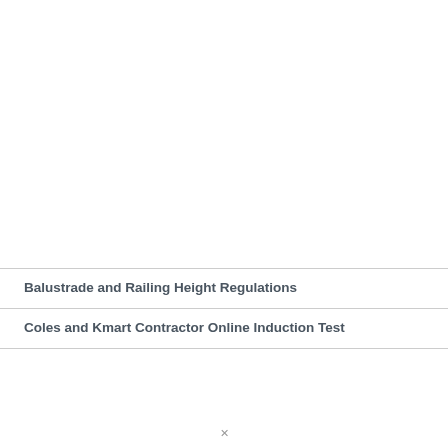Balustrade and Railing Height Regulations
Coles and Kmart Contractor Online Induction Test